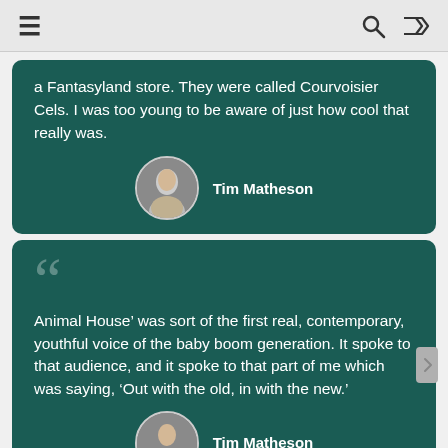≡  🔍  ⇄
a Fantasyland store. They were called Courvoisier Cels. I was too young to be aware of just how cool that really was.
Tim Matheson
Animal House' was sort of the first real, contemporary, youthful voice of the baby boom generation. It spoke to that audience, and it spoke to that part of me which was saying, 'Out with the old, in with the new.'
Tim Matheson